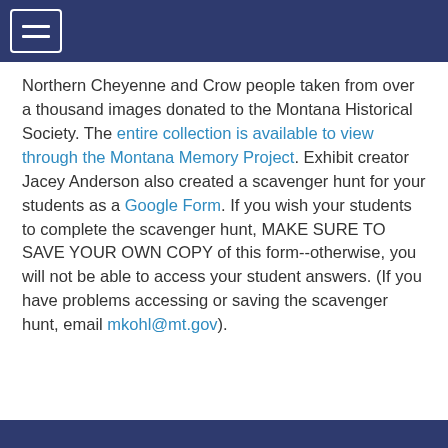[hamburger menu icon]
Northern Cheyenne and Crow people taken from over a thousand images donated to the Montana Historical Society. The entire collection is available to view through the Montana Memory Project. Exhibit creator Jacey Anderson also created a scavenger hunt for your students as a Google Form. If you wish your students to complete the scavenger hunt, MAKE SURE TO SAVE YOUR OWN COPY of this form--otherwise, you will not be able to access your student answers. (If you have problems accessing or saving the scavenger hunt, email mkohl@mt.gov).